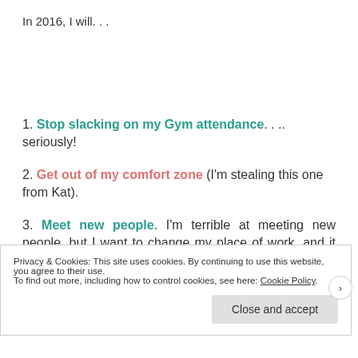In 2016, I will. . .
1. Stop slacking on my Gym attendance. . .. seriously!
2. Get out of my comfort zone (I'm stealing this one from Kat).
3. Meet new people. I'm terrible at meeting new people, but I want to change my place of work, and it would be a
Privacy & Cookies: This site uses cookies. By continuing to use this website, you agree to their use. To find out more, including how to control cookies, see here: Cookie Policy